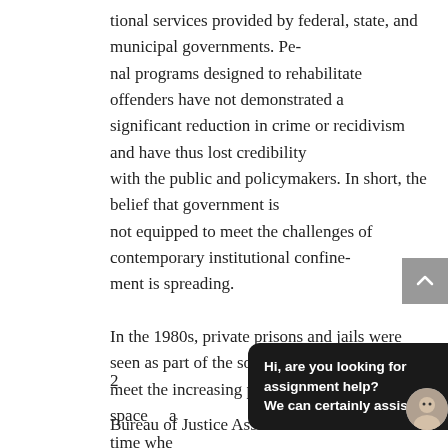tional services provided by federal, state, and municipal governments. Penal programs designed to rehabilitate offenders have not demonstrated a significant reduction in crime or recidivism and have thus lost credibility with the public and policymakers. In short, the belief that government is not equipped to meet the challenges of contemporary institutional confinement is spreading.

In the 1980s, private prisons and jails were seen as part of the solution to meet the increasing pressure for prison bed space at a time whe…
2
Bureau of Justice Assistance